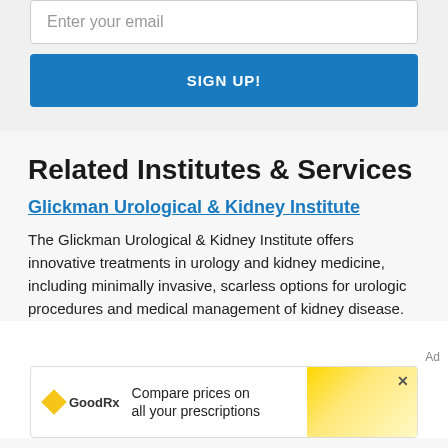Enter your email
SIGN UP!
Related Institutes & Services
Glickman Urological & Kidney Institute
The Glickman Urological & Kidney Institute offers innovative treatments in urology and kidney medicine, including minimally invasive, scarless options for urologic procedures and medical management of kidney disease.
[Figure (screenshot): GoodRx advertisement banner: 'Compare prices on all your prescriptions']